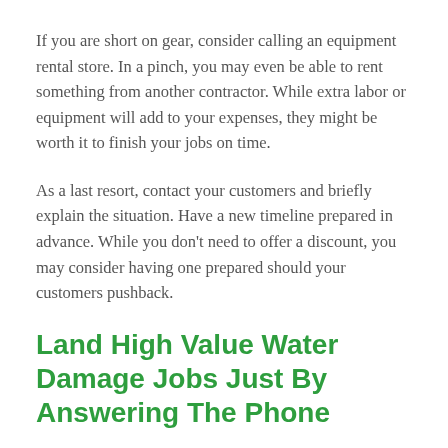If you are short on gear, consider calling an equipment rental store. In a pinch, you may even be able to rent something from another contractor. While extra labor or equipment will add to your expenses, they might be worth it to finish your jobs on time.
As a last resort, contact your customers and briefly explain the situation. Have a new timeline prepared in advance. While you don't need to offer a discount, you may consider having one prepared should your customers pushback.
Land High Value Water Damage Jobs Just By Answering The Phone
Need more water damage leads? Our top performing partners turn eight out of ten calls into jobs and